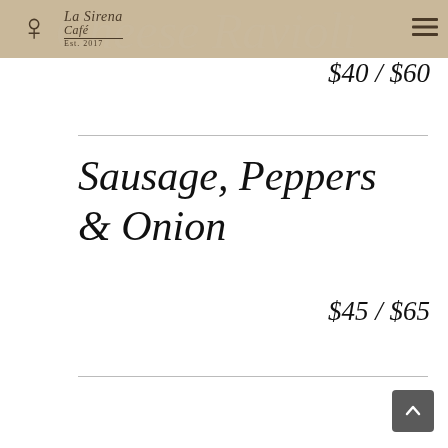La Sirena Café Est. 2017
$40 / $60
Sausage, Peppers & Onion
$45 / $65